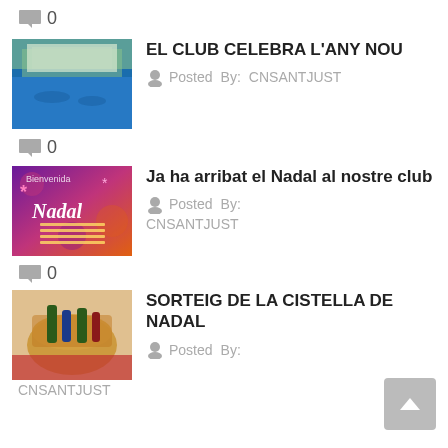0
[Figure (photo): Swimming pool with people swimming, outdoor club facility]
EL CLUB CELEBRA L'ANY NOU
Posted By: CNSANTJUST
0
[Figure (photo): Nadal (Christmas) event poster with purple/pink gradient background and decorative text]
Ja ha arribat el Nadal al nostre club
Posted By: CNSANTJUST
0
[Figure (photo): Christmas gift basket with bottles and products]
SORTEIG DE LA CISTELLA DE NADAL
Posted By: CNSANTJUST